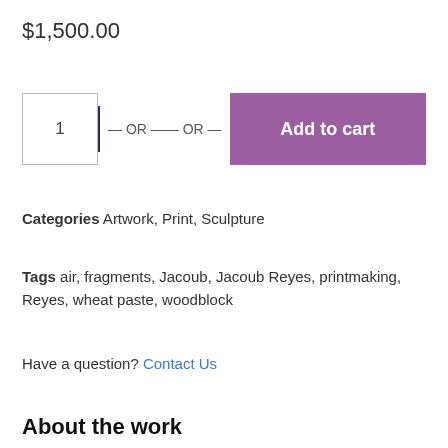$1,500.00
[Figure (screenshot): Quantity input box showing '1', an OR divider with lines, and a purple 'Add to cart' button]
Categories Artwork, Print, Sculpture
Tags air, fragments, Jacoub, Jacoub Reyes, printmaking, Reyes, wheat paste, woodblock
Have a question? Contact Us
About the work